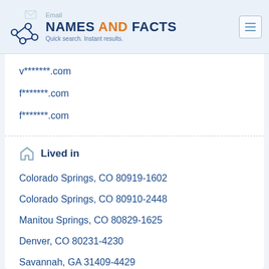Email | NAMES AND FACTS | Quick search. Instant results.
v*******.com
f*******.com
f*******.com
Lived in
Colorado Springs, CO 80919-1602
Colorado Springs, CO 80910-2448
Manitou Springs, CO 80829-1625
Denver, CO 80231-4230
Savannah, GA 31409-4429
Bethalto, IL 62010-1414
Edwardsville, IL 62025-5949